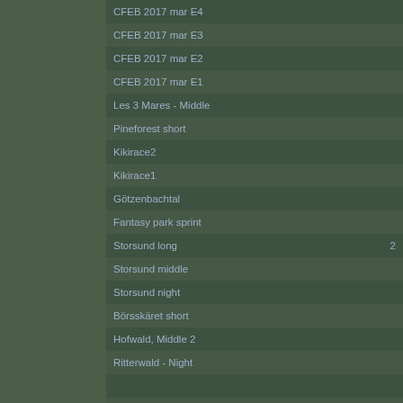CFEB 2017 mar E4
CFEB 2017 mar E3
CFEB 2017 mar E2
CFEB 2017 mar E1
Les 3 Mares - Middle
Pineforest short
Kikirace2
Kikirace1
Götzenbachtal
Fantasy park sprint
Storsund long
Storsund middle
Storsund night
Börsskäret short
Hofwald, Middle 2
Ritterwald - Night
Oronmylly 3 night
Oronmylly 3 long
Hofwald, Middle
Oronmylly 3 short
CF-WOC'17-Relay-Leg3 of 3
5 Days of Dunes | E2 - Middle
Oronmylly 2 night
Oronmylly 2 middle
CF-WOC'17-Relay-Leg2 of 3
Oronmylly long
CF-WOC'17-Relay- Leg1 of 3
5 Days of Dunes|E1 - Middle